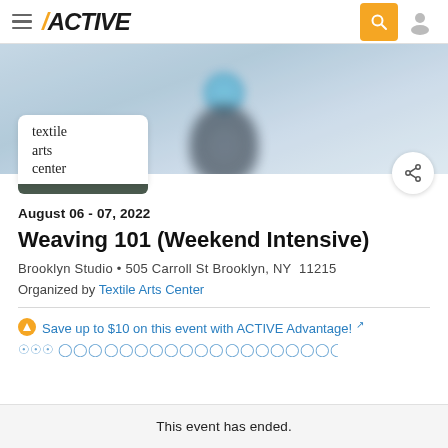ACTIVE (navigation bar with logo, search, user icon)
[Figure (photo): Hero banner showing a blurred figure wearing a blue hat, light grey/blue background]
[Figure (logo): Textile Arts Center logo — white card with rounded top corners, dark teal bottom bar, text reads: textile arts center]
August 06 - 07, 2022
Weaving 101 (Weekend Intensive)
Brooklyn Studio • 505 Carroll St Brooklyn, NY  11215
Organized by Textile Arts Center
Save up to $10 on this event with ACTIVE Advantage! ↗
This event has ended.